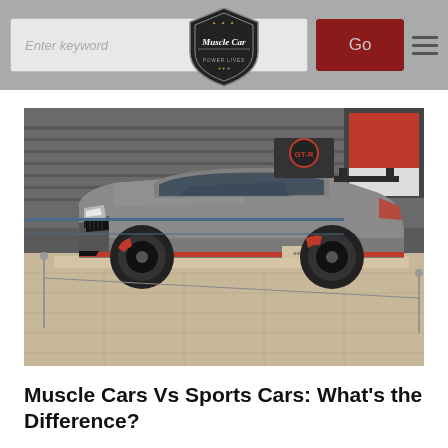Muscle Car — website header with search box, logo, Go button, and hamburger menu
[Figure (photo): A silver Nissan GT-R NISMO sports car with red accents and black wheels displayed on a platform inside a showroom with grey walls and display screens in the background.]
Muscle Cars Vs Sports Cars: What's the Difference?